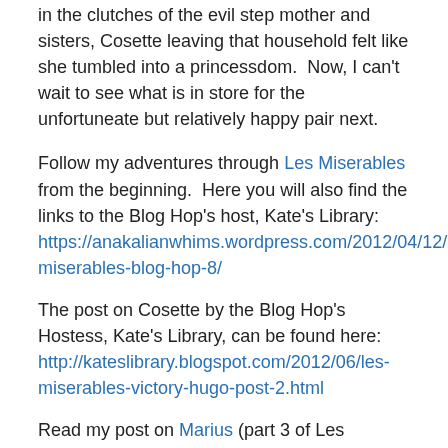in the clutches of the evil step mother and sisters, Cosette leaving that household felt like she tumbled into a princessdom.  Now, I can't wait to see what is in store for the unfortuneate but relatively happy pair next.
Follow my adventures through Les Miserables from the beginning.  Here you will also find the links to the Blog Hop's host, Kate's Library: https://anakalianwhims.wordpress.com/2012/04/12/les-miserables-blog-hop-8/
The post on Cosette by the Blog Hop's Hostess, Kate's Library, can be found here: http://kateslibrary.blogspot.com/2012/06/les-miserables-victory-hugo-post-2.html
Read my post on Marius (part 3 of Les Miserables).